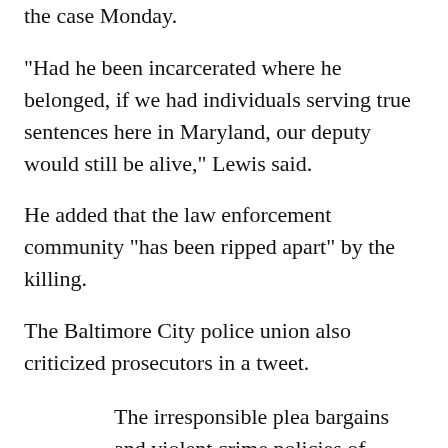the case Monday.
"Had he been incarcerated where he belonged, if we had individuals serving true sentences here in Maryland, our deputy would still be alive," Lewis said.
He added that the law enforcement community "has been ripped apart" by the killing.
The Baltimore City police union also criticized prosecutors in a tweet.
The irresponsible plea bargains and violent crime policies of @MarilynMosbyEsq have now gotten a Deputy Sheriff killed. She is a plague on